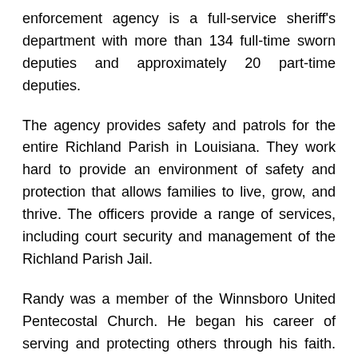enforcement agency is a full-service sheriff's department with more than 134 full-time sworn deputies and approximately 20 part-time deputies.
The agency provides safety and patrols for the entire Richland Parish in Louisiana. They work hard to provide an environment of safety and protection that allows families to live, grow, and thrive. The officers provide a range of services, including court security and management of the Richland Parish Jail.
Randy was a member of the Winnsboro United Pentecostal Church. He began his career of serving and protecting others through his faith. He graduated in 1986 with a theology major from the Texas Bible College.